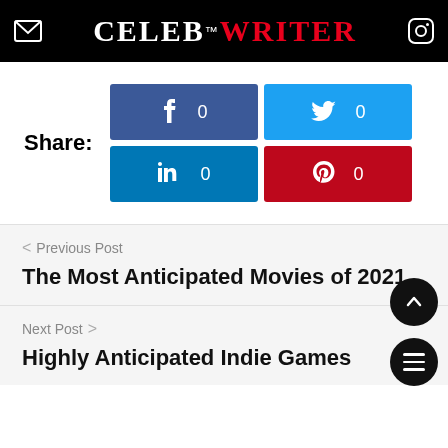CELEB™WRITER
Share: Facebook 0, Twitter 0, LinkedIn 0, Pinterest 0
< Previous Post
The Most Anticipated Movies of 2021
Next Post >
Highly Anticipated Indie Games